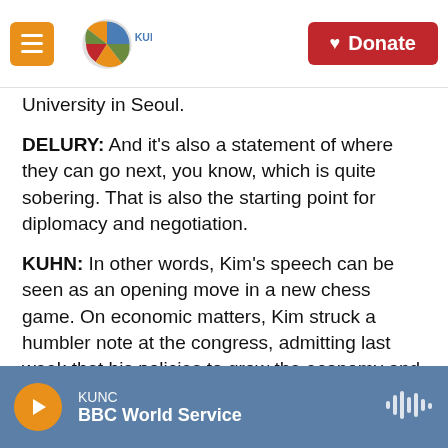KUNC — Donate
University in Seoul.
DELURY: And it's also a statement of where they can go next, you know, which is quite sobering. That is also the starting point for diplomacy and negotiation.
KUHN: In other words, Kim's speech can be seen as an opening move in a new chess game. On economic matters, Kim struck a humbler note at the congress, admitting last week that his policies to grow the economy and raise people's living standards were an abject failure.
KUNC — BBC World Service